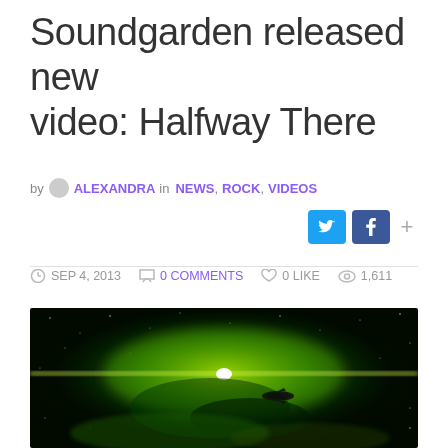Soundgarden released new video: Halfway There
by ALEXANDRA in NEWS, ROCK, VIDEOS
SEP 4, 2013   0 COMMENTS   0 LIKE   1,611
[Figure (photo): Space nebula scene with bright green and yellow glowing clouds, a bright white light source at center, and a small spacecraft silhouette against a dark starry background]